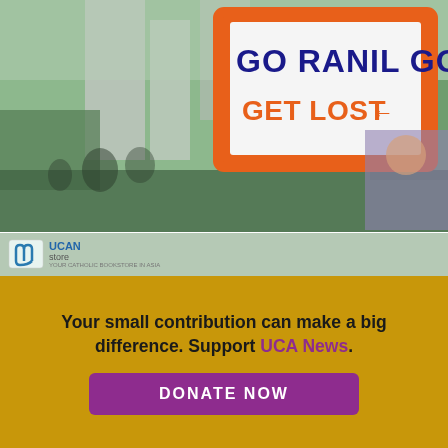[Figure (photo): Street protest photo showing crowd with sign reading 'GO RANIL GO GET LOST' in orange border, city buildings in background, woman in purple jacket visible on right]
[Figure (screenshot): UCAN Store website popup overlay showing an eBook card with photo of Michael Kelly, eBook button, and Special Ebooks sidebar in dark brown]
Your small contribution can make a big difference. Support UCA News.
DONATE NOW